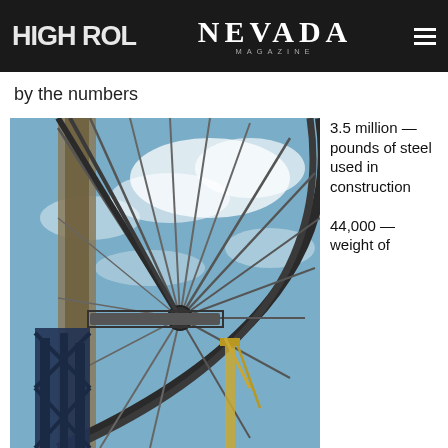HIGH ROL… NEVADA MAGAZINE
by the numbers
[Figure (photo): Close-up photograph looking up at the steel frame structure of a large Ferris wheel under construction, with cables and blue sky with clouds visible.]
3.5 million — pounds of steel used in construction

44,000 — weight of